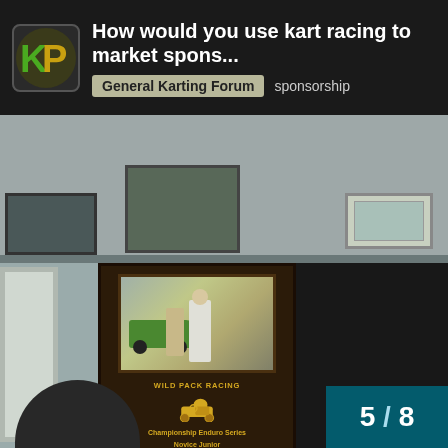How would you use kart racing to market spons... — General Karting Forum — sponsorship
[Figure (photo): Photo of an office/room wall with framed awards and plaques. A dark wooden award plaque is mounted in the center showing a photo of a person next to a kart, a kart racing trophy icon, and text reading: WILD PACK RACING, Championship Enduro Series, Novice Junior, Concept Haulers Motor Speedway, Lo206 Junior, 2013 Sponsor, C&M Auto Service.]
5 / 8